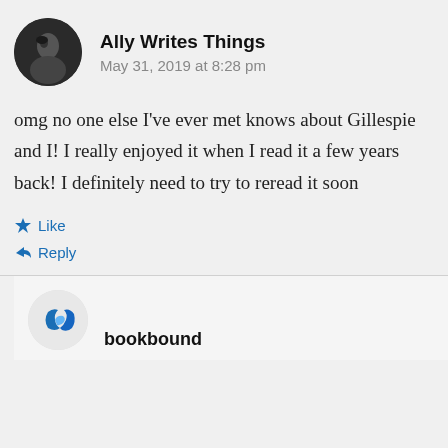[Figure (photo): Circular avatar photo of Ally Writes Things, dark black-and-white portrait]
Ally Writes Things
May 31, 2019 at 8:28 pm
omg no one else I’ve ever met knows about Gillespie and I! I really enjoyed it when I read it a few years back! I definitely need to try to reread it soon
Like
Reply
[Figure (logo): Partial view of bookbound logo/avatar at bottom of page]